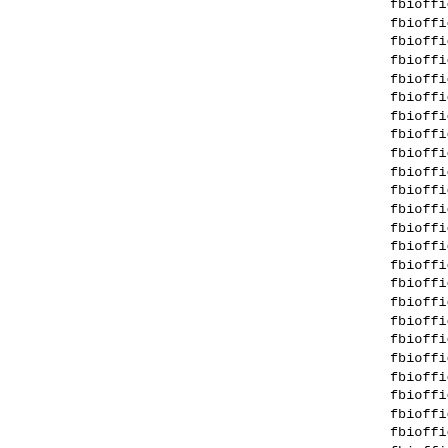fbiofficeauthoritygro...
fbiofficebeni nrpub@qq...
fbioffice christopher0...
fbioffice code001@yaho...
fbiofficedepa@citroma...
fbioffice department00...
fbioffice department12...
fbioffice department9@...
fbioffice director16@g...
fbiofficef@gmail.com
fbioffice fbi26@aol.fr...
fbioffice fbi@foxmail....
fbioffice fbifoxmailco...
fbioffice fbioffice01@...
fbioffice fbioffice063...
fbioffice file14@gmail...
fbioffice gov2016@gmai...
fbioffice gtb1@gmail.c...
fbioffice info1@gmail....
fbioffice jamessss@yah...
fbioffice john772@gmai...
fbioffice mail07@gmail...
fbioffice mail94@gmail...
fbiofficer624@gmail.c...
fbioffice records2017@...
fbioffice records201@g...
fbioffice records20@ao...
fbioffice records99@gm...
fbioffice records@gmai...
fbioffice records@zoho...
fbioffices672@gmail....